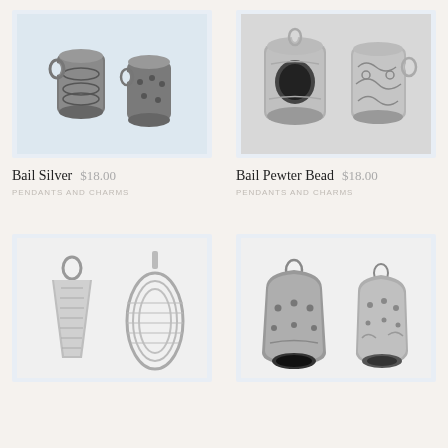[Figure (photo): Two silver bail beads with decorative filigree pattern, cylindrical shape with loop connector, shown from different angles on light blue background]
Bail Silver
$18.00
PENDANTS AND CHARMS
[Figure (photo): Two bail pewter beads, cylindrical shape with swirling decorative pattern and loop connector, shown from front and side on light gray background]
Bail Pewter Bead
$18.00
PENDANTS AND CHARMS
[Figure (photo): Two silver bail connectors - one triangular ridged pendant bail and one oval wire-wrapped bail, shown on white background]
[Figure (photo): Two silver bail bead caps with decorative dotted and engraved pattern, cylindrical shape with loop connectors, shown from front angles on white background]